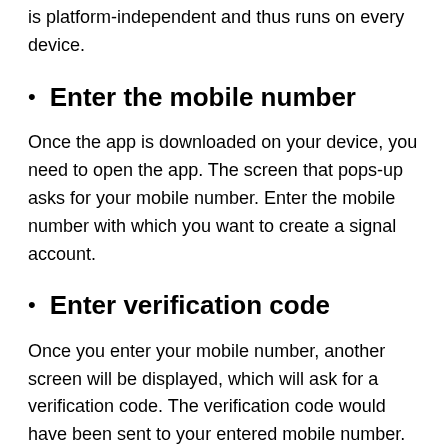is platform-independent and thus runs on every device.
Enter the mobile number
Once the app is downloaded on your device, you need to open the app. The screen that pops-up asks for your mobile number. Enter the mobile number with which you want to create a signal account.
Enter verification code
Once you enter your mobile number, another screen will be displayed, which will ask for a verification code. The verification code would have been sent to your entered mobile number. Enter the verification code and press enter.
Create a security pin